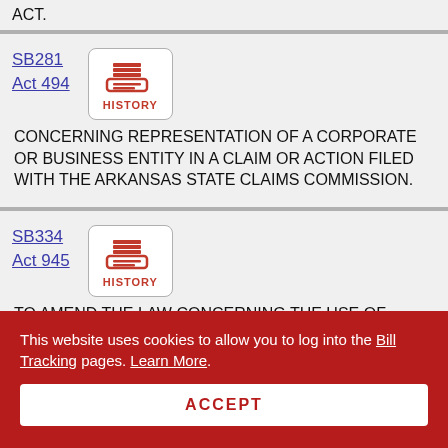ACT.
SB281
Act 494
[HISTORY button]
CONCERNING REPRESENTATION OF A CORPORATE OR BUSINESS ENTITY IN A CLAIM OR ACTION FILED WITH THE ARKANSAS STATE CLAIMS COMMISSION.
SB334
Act 945
[HISTORY button]
TO AMEND THE LAW CONCERNING THE USE OF EMINENT DOMAIN BY A STATE AGENCY; AND TO ADD NEW DEFINITIONS UNDER EMINENT DOMAIN.
This website uses cookies to allow you to log into the Bill Tracking pages. Learn More.